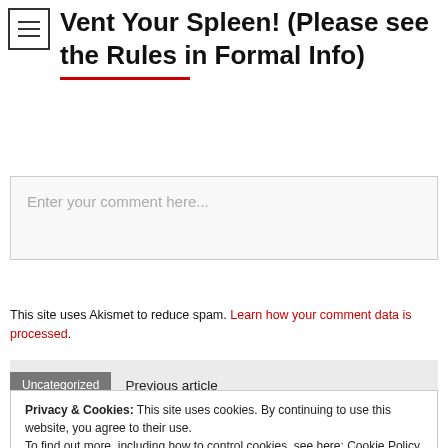Vent Your Spleen! (Please see the Rules in Formal Info)
[Figure (screenshot): Comment input textarea with placeholder text 'Enter your comment here...']
This site uses Akismet to reduce spam. Learn how your comment data is processed.
Uncategorized   Previous article
Privacy & Cookies: This site uses cookies. By continuing to use this website, you agree to their use.
To find out more, including how to control cookies, see here: Cookie Policy
Close and accept